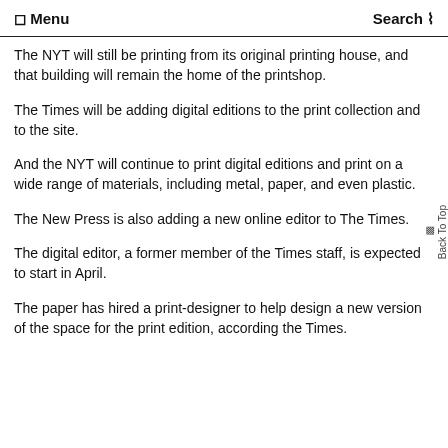☰ Menu    Search
The NYT will still be printing from its original printing house, and that building will remain the home of the printshop.
The Times will be adding digital editions to the print collection and to the site.
And the NYT will continue to print digital editions and print on a wide range of materials, including metal, paper, and even plastic.
The New Press is also adding a new online editor to The Times.
The digital editor, a former member of the Times staff, is expected to start in April.
The paper has hired a print-designer to help design a new version of the space for the print edition, according the Times.